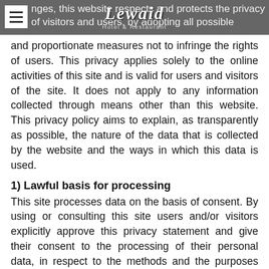Lewaid Hotel & Restaurant
nges, this website respects and protects the privacy of visitors and users, by adopting all possible and proportionate measures not to infringe the rights of users. This privacy applies solely to the online activities of this site and is valid for users and visitors of the site. It does not apply to any information collected through means other than this website. This privacy policy aims to explain, as transparently as possible, the nature of the data that is collected by the website and the ways in which this data is used.
1) Lawful basis for processing
This site processes data on the basis of consent. By using or consulting this site users and/or visitors explicitly approve this privacy statement and give their consent to the processing of their personal data, in respect to the methods and the purposes specified here below, including the possible disclosure to third